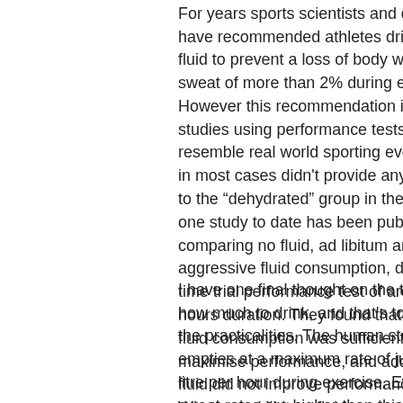For years sports scientists and dietitians have recommended athletes drink enough fluid to prevent a loss of body weight from sweat of more than 2% during exercise. However this recommendation is based on studies using performance tests that don't resemble real world sporting events, and in most cases didn't provide any fluid at all to the “dehydrated” group in the trial. Only one study to date has been published comparing no fluid, ad libitum and aggressive fluid consumption, during a time trial performance test of around two hours duration. They found that ad libitum fluid consumption was sufficient to maximise performance, and additional fluid did not improve performance further. Whether ad libitum fluid consumption is sufficient in longer events remains unknown. Athletes should be cautious about overly-aggressive fluid replacement strategies (especially in cooler weather), because excessive fluid consumption can lead to potentially fatal hyponatraemia.
I have one final thought on the topic of how much to drink, and that's to do with the practicalities. The human stomach empties at a maximum rate of just over 1 litre per hour during exercise. Even if sweat rates are higher than this there's not much you can do